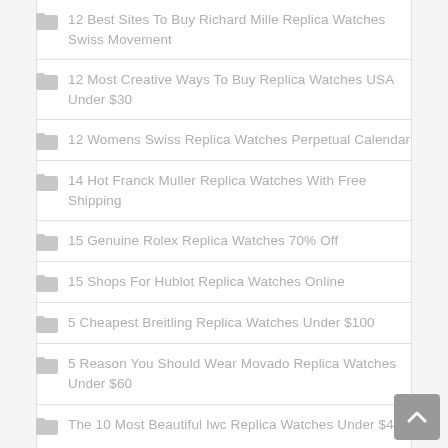12 Best Sites To Buy Richard Mille Replica Watches Swiss Movement
12 Most Creative Ways To Buy Replica Watches USA Under $30
12 Womens Swiss Replica Watches Perpetual Calendar
14 Hot Franck Muller Replica Watches With Free Shipping
15 Genuine Rolex Replica Watches 70% Off
15 Shops For Hublot Replica Watches Online
5 Cheapest Breitling Replica Watches Under $100
5 Reason You Should Wear Movado Replica Watches Under $60
The 10 Most Beautiful Iwc Replica Watches Under $40